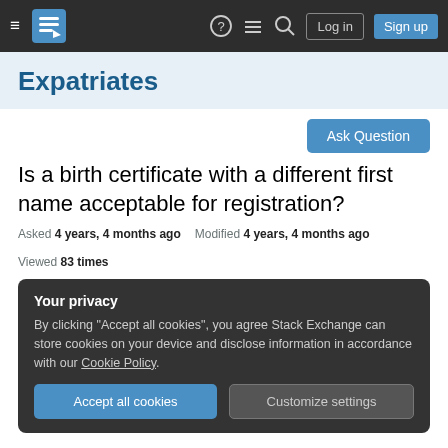≡  [logo]  ? ≡ 🔍  Log in  Sign up
Expatriates
Ask Question
Is a birth certificate with a different first name acceptable for registration?
Asked 4 years, 4 months ago   Modified 4 years, 4 months ago   Viewed 83 times
Your privacy
By clicking "Accept all cookies", you agree Stack Exchange can store cookies on your device and disclose information in accordance with our Cookie Policy.
[Accept all cookies]  [Customize settings]
The the problem to not that I am along with